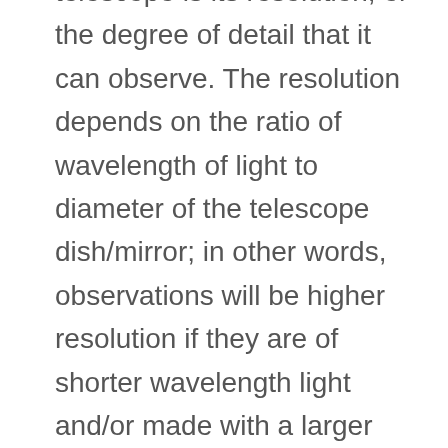telescope is its resolution, or the degree of detail that it can observe. The resolution depends on the ratio of wavelength of light to diameter of the telescope dish/mirror; in other words, observations will be higher resolution if they are of shorter wavelength light and/or made with a larger diameter telescope.
ALMA is sensitive to light with wavelengths that are from about 300 micrometers to 3